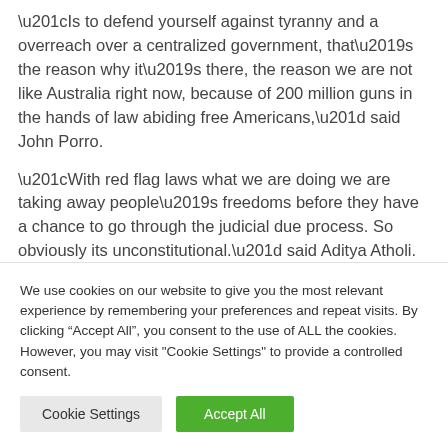“Is to defend yourself against tyranny and a overreach over a centralized government, that’s the reason why it’s there, the reason we are not like Australia right now, because of 200 million guns in the hands of law abiding free Americans,” said John Porro.
“With red flag laws what we are doing we are taking away people’s freedoms before they have a chance to go through the judicial due process. So obviously its unconstitutional.” said Aditya Atholi.
We use cookies on our website to give you the most relevant experience by remembering your preferences and repeat visits. By clicking “Accept All”, you consent to the use of ALL the cookies. However, you may visit "Cookie Settings" to provide a controlled consent.